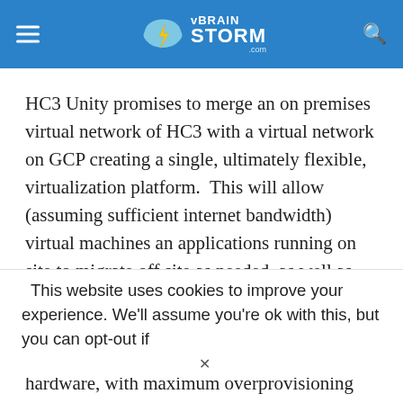vBrainStorm.com
HC3 Unity promises to merge an on premises virtual network of HC3 with a virtual network on GCP creating a single, ultimately flexible, virtualization platform.  This will allow (assuming sufficient internet bandwidth) virtual machines an applications running on site to migrate off site as needed, as well as being able to lease compute or storage capacity from google at times of high load. Facilitating optimum utilization of on site hardware, with maximum overprovisioning knowing that
This website uses cookies to improve your experience. We'll assume you're ok with this, but you can opt-out if